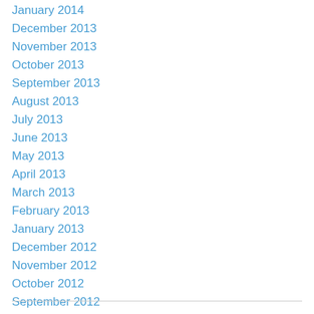January 2014
December 2013
November 2013
October 2013
September 2013
August 2013
July 2013
June 2013
May 2013
April 2013
March 2013
February 2013
January 2013
December 2012
November 2012
October 2012
September 2012
January 2011